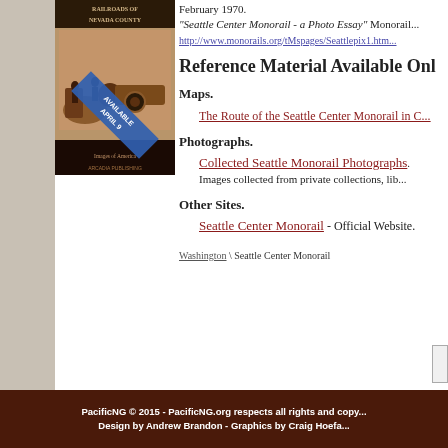[Figure (photo): Book cover for Railroads of Nevada County with sepia-toned image of a train and workers, with a diagonal 'Available April 9' banner in blue]
February 1970.
"Seattle Center Monorail - a Photo Essay" Monorail...
http://www.monorails.org/tMspages/Seattlepix1.htm...
Reference Material Available Onl...
Maps.
The Route of the Seattle Center Monorail in C...
Photographs.
Collected Seattle Monorail Photographs.
Images collected from private collections, lib...
Other Sites.
Seattle Center Monorail - Official Website.
Washington \ Seattle Center Monorail
PacificNG © 2015 - PacificNG.org respects all rights and copy...
Design by Andrew Brandon - Graphics by Craig Hoefa...